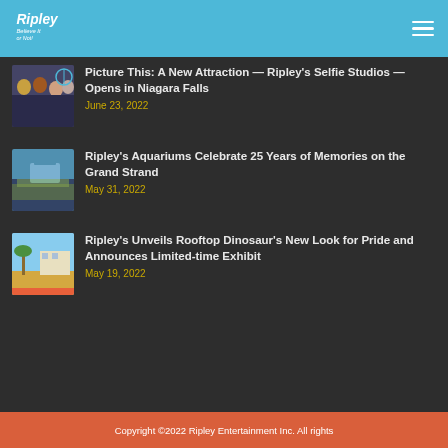Ripley's Entertainment
Picture This: A New Attraction — Ripley's Selfie Studios — Opens in Niagara Falls
June 23, 2022
Ripley's Aquariums Celebrate 25 Years of Memories on the Grand Strand
May 31, 2022
Ripley's Unveils Rooftop Dinosaur's New Look for Pride and Announces Limited-time Exhibit
May 19, 2022
Copyright ©2022 Ripley Entertainment Inc. All rights